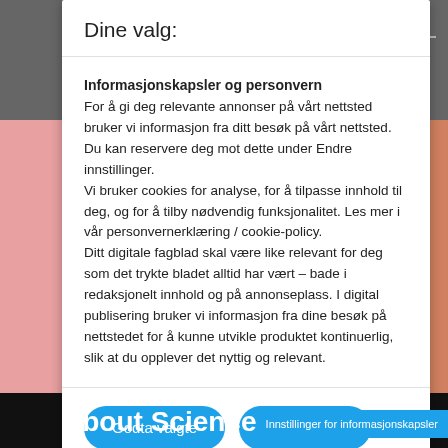Dine valg:
Informasjonskapsler og personvern
For å gi deg relevante annonser på vårt nettsted bruker vi informasjon fra ditt besøk på vårt nettsted. Du kan reservere deg mot dette under Endre innstillinger.
Vi bruker cookies for analyse, for å tilpasse innhold til deg, og for å tilby nødvendig funksjonalitet. Les mer i vår personvernerklæring / cookie-policy.
Ditt digitale fagblad skal være like relevant for deg som det trykte bladet alltid har vært – bade i redaksjonelt innhold og på annonseplass. I digital publisering bruker vi informasjon fra dine besøk på nettstedet for å kunne utvikle produktet kontinuerlig, slik at du opplever det nyttig og relevant.
Godta valgte
Innstillinger
About Sciencenorwa
Innstillinger for informasjonskapsler